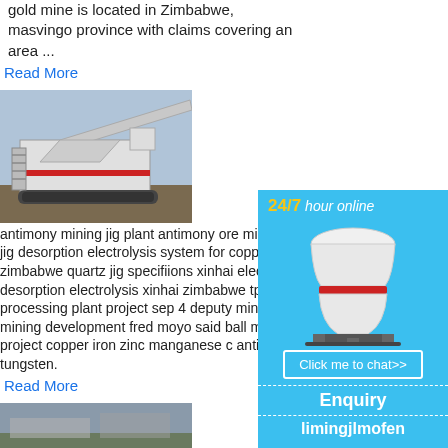gold mine is located in Zimbabwe, masvingo province with claims covering an area ...
Read More
[Figure (photo): Large wheeled/tracked mining processing machine outdoors]
antimony mining jig plant antimony ore mining jig desorption electrolysis system for copper in zimbabwe quartz jig specifiions xinhai elect desorption electrolysis xinhai zimbabwe tpo processing plant project sep 4 deputy minis mining development fred moyo said ball mi ore . project copper iron zinc manganese c antimony tungsten.
Read More
[Figure (photo): Partial view of another mining-related image at bottom]
[Figure (infographic): Sidebar advertisement: 24/7 hour online, cone crusher machine image, Click me to chat>> button, Enquiry section, limingjlmofen text]